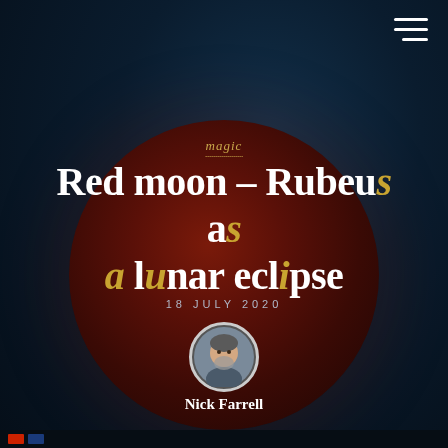[Figure (illustration): Dark navy background with a large blood-red moon circle in the center, serving as the hero image background for a blog post.]
Red moon – Rubeus as a lunar eclipse
magic
18 JULY 2020
[Figure (photo): Circular portrait photo of Nick Farrell, a bearded man, with a white circular border.]
Nick Farrell